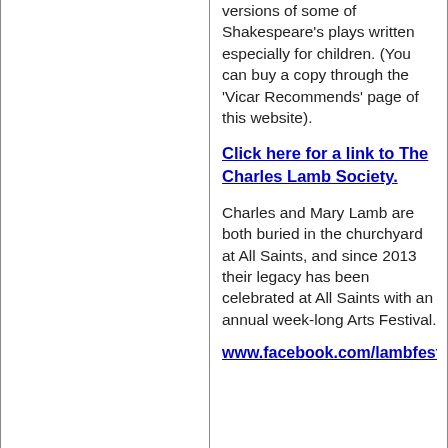versions of some of Shakespeare's plays written especially for children. (You can buy a copy through the 'Vicar Recommends' page of this website).
Click here for a link to The Charles Lamb Society.
Charles and Mary Lamb are both buried in the churchyard at All Saints, and since 2013 their legacy has been celebrated at All Saints with an annual week-long Arts Festival.
www.facebook.com/lambfestiv...